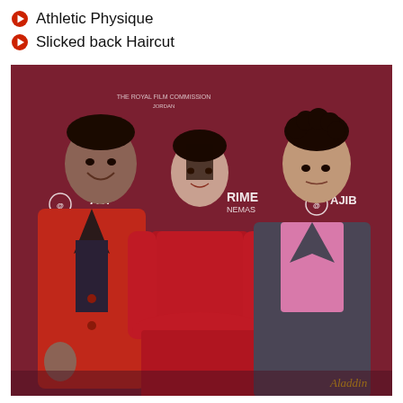Athletic Physique
Slicked back Haircut
[Figure (photo): Three people posing at what appears to be an Aladdin movie premiere event in Jordan. On the left is a tall man wearing a red coat over a patterned shirt. In the center is a woman in a red sparkling long-sleeve dress with a peplum skirt. On the right is a young man in a gray suit with a pink shirt. The backdrop shows logos including AJIB (Arab Jordan Investment Bank), Royal Film Commission Jordan, and Prime Cinemas.]